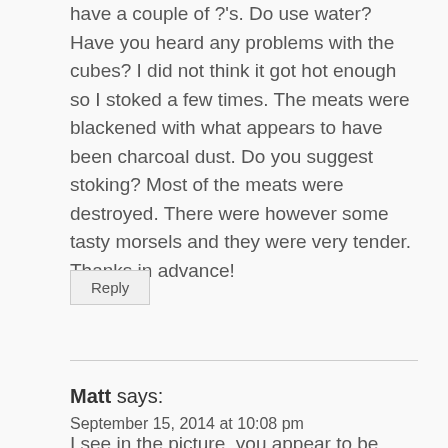have a couple of ?'s. Do use water? Have you heard any problems with the cubes? I did not think it got hot enough so I stoked a few times. The meats were blackened with what appears to have been charcoal dust. Do you suggest stoking? Most of the meats were destroyed. There were however some tasty morsels and they were very tender. Thanks in advance!
Reply
Matt says: September 15, 2014 at 10:08 pm
I see in the picture, you appear to be adding split